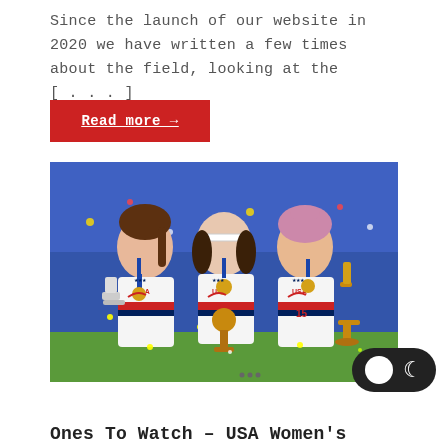Since the launch of our website in 2020 we have written a few times about the field, looking at the [...]
Read more →
[Figure (photo): Three female soccer players in USA white jerseys with gold medals, holding trophies (Golden Boot, Golden Ball, Golden Glove), celebrating after winning the FIFA Women's World Cup. Stadium crowd visible in background.]
Ones To Watch – USA Women's